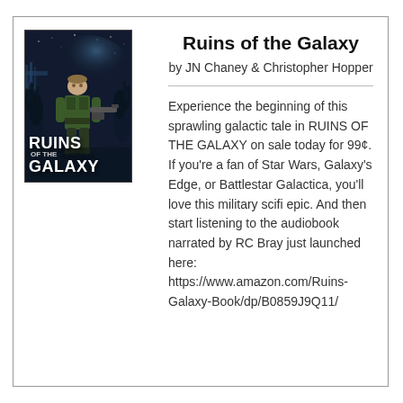[Figure (illustration): Book cover for 'Ruins of the Galaxy' by Chaney and Hopper. Dark sci-fi cover showing an armored soldier with a weapon against an alien/space background. Title text 'RUINS OF THE GALAXY' displayed prominently.]
Ruins of the Galaxy
by JN Chaney & Christopher Hopper
Experience the beginning of this sprawling galactic tale in RUINS OF THE GALAXY on sale today for 99¢. If you're a fan of Star Wars, Galaxy's Edge, or Battlestar Galactica, you'll love this military scifi epic. And then start listening to the audiobook narrated by RC Bray just launched here: https://www.amazon.com/Ruins-Galaxy-Book/dp/B0859J9Q11/